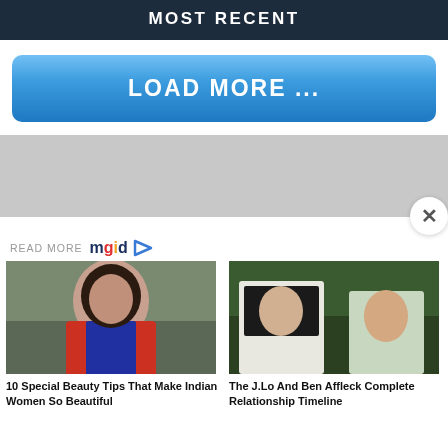MOST RECENT
LOAD MORE ...
[Figure (other): Gray advertisement/banner area with close button (X)]
READ MORE mgid
[Figure (photo): Photo of an Indian woman with dark hair posing outdoors]
10 Special Beauty Tips That Make Indian Women So Beautiful
[Figure (photo): Photo of J.Lo and Ben Affleck together at an event]
The J.Lo And Ben Affleck Complete Relationship Timeline